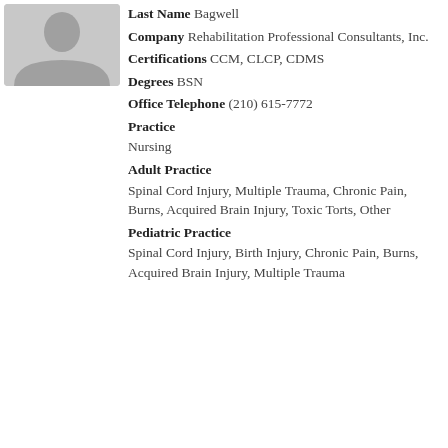[Figure (photo): Profile photo placeholder showing a generic person silhouette in gray]
Last Name Bagwell
Company Rehabilitation Professional Consultants, Inc.
Certifications CCM, CLCP, CDMS
Degrees BSN
Office Telephone (210) 615-7772
Practice
Nursing
Adult Practice
Spinal Cord Injury, Multiple Trauma, Chronic Pain, Burns, Acquired Brain Injury, Toxic Torts, Other
Pediatric Practice
Spinal Cord Injury, Birth Injury, Chronic Pain, Burns, Acquired Brain Injury, Multiple Trauma